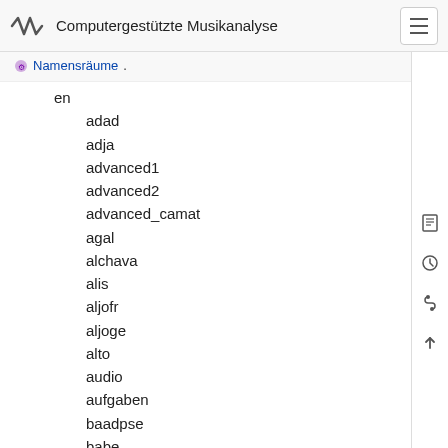Computergestützte Musikanalyse
Namensräume.
en
adad
adja
advanced1
advanced2
advanced_camat
agal
alchava
alis
aljofr
aljoge
alto
audio
aufgaben
baadpse
babe
bacaphe
bajose
basics1